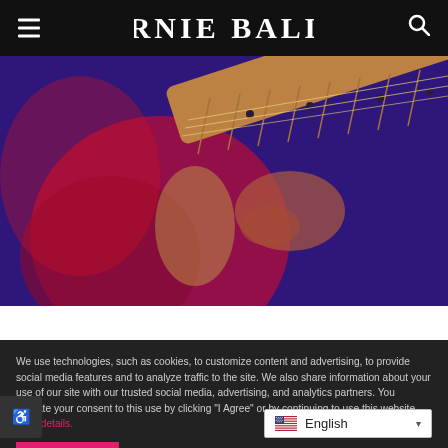ERNIE BALL
[Figure (photo): Close-up of a person playing an electric guitar with a psychedelic red, orange, blue color filter applied. Shows the body and neck of the guitar with the player's hand fretting.]
We use technologies, such as cookies, to customize content and advertising, to provide social media features and to analyze traffic to the site. We also share information about your use of our site with our trusted social media, advertising, and analytics partners. You indicate your consent to this use by clicking "I Agree" or by continuing to use this website. View details.